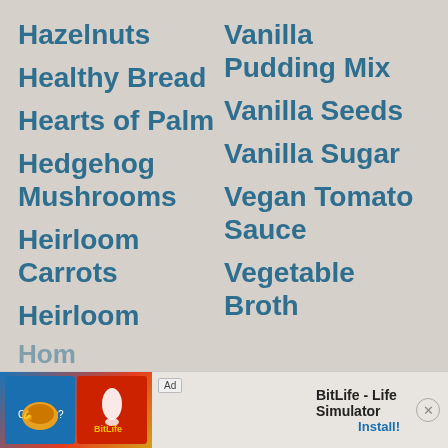Hazelnuts
Healthy Bread
Hearts of Palm
Hedgehog Mushrooms
Heirloom Carrots
Heirloom Tomatoes
Hemp Seeds
Hollandaise Sauce Hack
Vanilla Pudding Mix
Vanilla Seeds
Vanilla Sugar
Vegan Tomato Sauce
Vegetable Broth
Vegetable Oil
Vegetable Shortening
Vidalia Onion
BitLife - Life Simulator  Install!